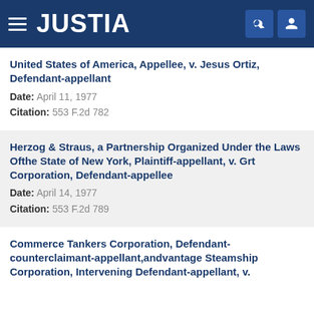JUSTIA
United States of America, Appellee, v. Jesus Ortiz, Defendant-appellant
Date: April 11, 1977
Citation: 553 F.2d 782
Herzog & Straus, a Partnership Organized Under the Laws Ofthe State of New York, Plaintiff-appellant, v. Grt Corporation, Defendant-appellee
Date: April 14, 1977
Citation: 553 F.2d 789
Commerce Tankers Corporation, Defendant-counterclaimant-appellant,andvantage Steamship Corporation, Intervening Defendant-appellant, v.